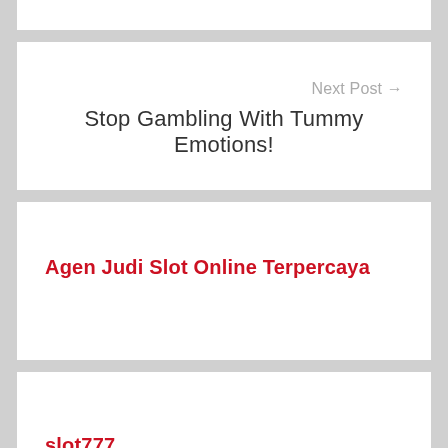Next Post →
Stop Gambling With Tummy Emotions!
Agen Judi Slot Online Terpercaya
slot777